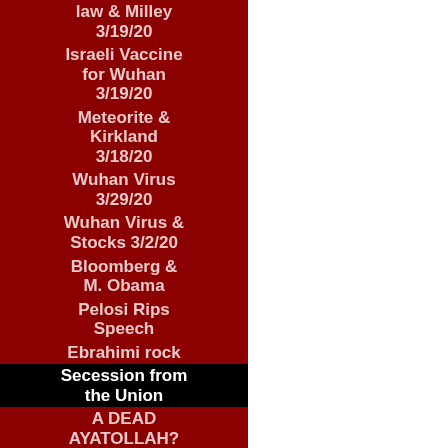law & Milley 3/19/20
Israeli Vaccine for Wuhan 3/19/20
Meteorite & Kirkland 3/18/20
Wuhan Virus 3/29/20
Wuhan Virus & Stocks 3/2/20
Bloomberg & M. Obama
Pelosi Rips Speech
Ebrahimi rock
Secession from the Union
A DEAD AYATOLLAH?
Ukraine Airliner Downed